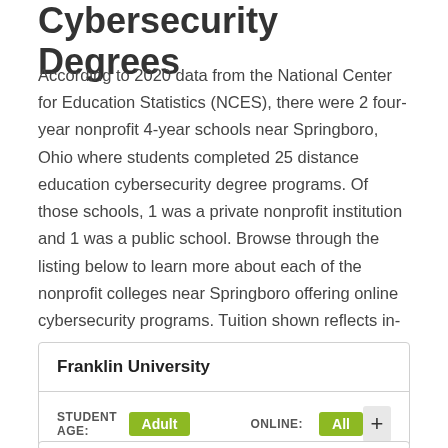Cybersecurity Degrees
According to 2020 data from the National Center for Education Statistics (NCES), there were 2 four-year nonprofit 4-year schools near Springboro, Ohio where students completed 25 distance education cybersecurity degree programs. Of those schools, 1 was a private nonprofit institution and 1 was a public school. Browse through the listing below to learn more about each of the nonprofit colleges near Springboro offering online cybersecurity programs. Tuition shown reflects in-state rates.
| Franklin University |
| --- |
| STUDENT AGE: Adult | ONLINE: All |